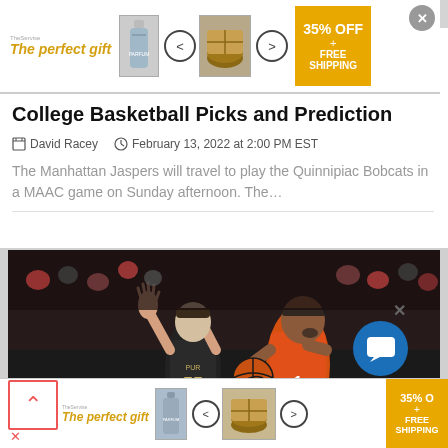[Figure (infographic): Advertisement banner overlay at top: 'The perfect gift' in gold italic text, product images of bottles and food items, navigation arrows, 35% OFF + FREE SHIPPING promo box in gold, X close button]
College Basketball Picks and Prediction
David Racey   February 13, 2022 at 2:00 PM EST
The Manhattan Jaspers will travel to play the Quinnipiac Bobcats in a MAAC game on Sunday afternoon. The…
[Figure (photo): Basketball game photo showing two players — one in a black Purdue #55 jersey reaching up, and one in an orange jersey driving to the basket, crowd visible in background]
[Figure (infographic): Bottom advertisement banner: 'The perfect gift' in gold italic, product images, navigation arrows, 35% OFF + FREE SHIPPING promo box]